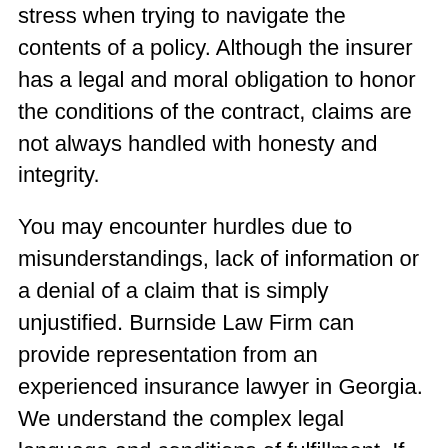stress when trying to navigate the contents of a policy. Although the insurer has a legal and moral obligation to honor the conditions of the contract, claims are not always handled with honesty and integrity.
You may encounter hurdles due to misunderstandings, lack of information or a denial of a claim that is simply unjustified. Burnside Law Firm can provide representation from an experienced insurance lawyer in Georgia. We understand the complex legal language and conditions of fulfillment. If you are struggling with a dispute related to life, automotive, property and casualty, disability or liability insurance, our team is here to offer support.
Do not allow large insurance companies to exploit your inexperience in legal matters. With the right resources and knowledge, Burnside Law Firm has recovered millions for clients who may have otherwise walked away from an insurance dispute.